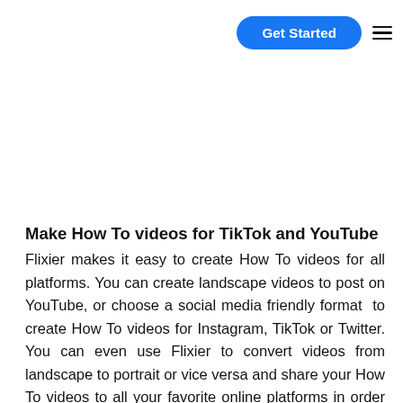Get Started
Make How To videos for TikTok and YouTube
Flixier makes it easy to create How To videos for all platforms. You can create landscape videos to post on YouTube, or choose a social media friendly format  to create How To videos for Instagram, TikTok or Twitter. You can even use Flixier to convert videos from landscape to portrait or vice versa and share your How To videos to all your favorite online platforms in order to reach a wider audience.